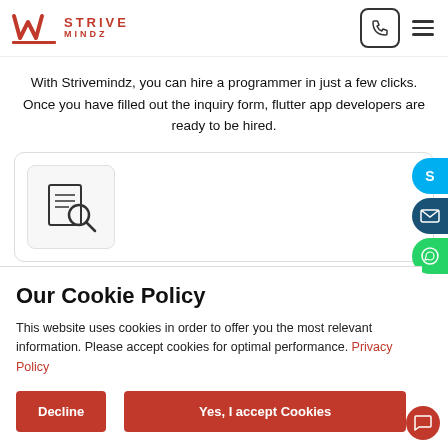Strive Mindz
With Strivemindz, you can hire a programmer in just a few clicks. Once you have filled out the inquiry form, flutter app developers are ready to be hired.
[Figure (illustration): Card with a document/search icon illustration]
Our Cookie Policy
This website uses cookies in order to offer you the most relevant information. Please accept cookies for optimal performance. Privacy Policy
Decline
Yes, I accept Cookies